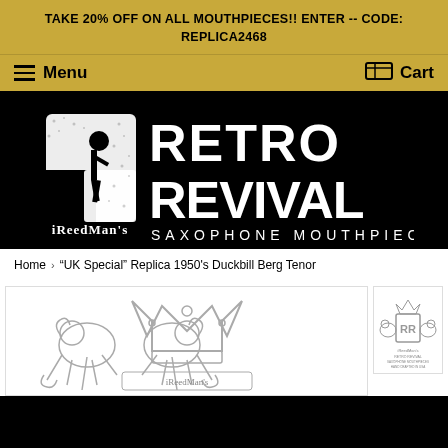TAKE 20% OFF ON ALL MOUTHPIECES!! ENTER -- CODE: REPLICA2468
Menu | Cart
[Figure (logo): iReedMan's Retro Revival Saxophone Mouthpieces logo on black background with saxophone player silhouette]
Home > "UK Special" Replica 1950's Duckbill Berg Tenor
[Figure (photo): Main product photo showing a heraldic crest with two lions and a crown, iReedMan's branding]
[Figure (photo): Thumbnail image of iReedMan's Retro Revival heraldic logo/seal]